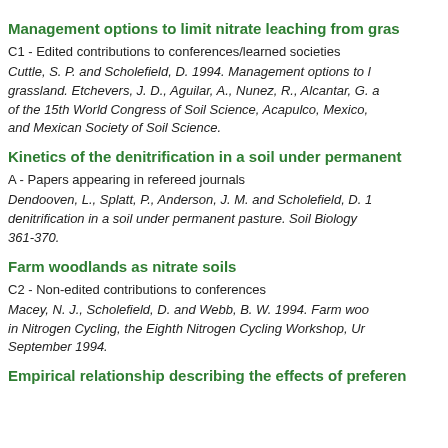Management options to limit nitrate leaching from gras
C1 - Edited contributions to conferences/learned societies
Cuttle, S. P. and Scholefield, D. 1994. Management options to limit nitrate leaching from grassland. Etchevers, J. D., Aguilar, A., Nunez, R., Alcantar, G. a... of the 15th World Congress of Soil Science, Acapulco, Mexico, and Mexican Society of Soil Science.
Kinetics of the denitrification in a soil under permanent
A - Papers appearing in refereed journals
Dendooven, L., Splatt, P., Anderson, J. M. and Scholefield, D. 1... denitrification in a soil under permanent pasture. Soil Biology... 361-370.
Farm woodlands as nitrate soils
C2 - Non-edited contributions to conferences
Macey, N. J., Scholefield, D. and Webb, B. W. 1994. Farm woo... in Nitrogen Cycling, the Eighth Nitrogen Cycling Workshop, Ur... September 1994.
Empirical relationship describing the effects of preferen